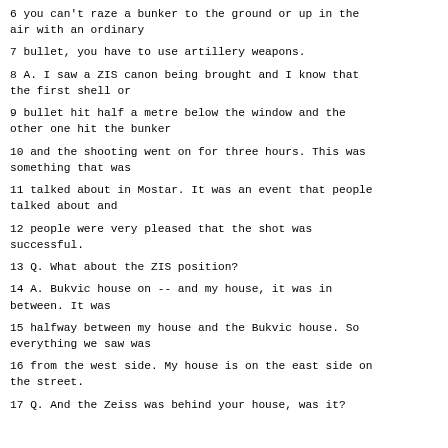6 you can't raze a bunker to the ground or up in the air with an ordinary
7 bullet, you have to use artillery weapons.
8 A. I saw a ZIS canon being brought and I know that the first shell or
9 bullet hit half a metre below the window and the other one hit the bunker
10 and the shooting went on for three hours. This was something that was
11 talked about in Mostar. It was an event that people talked about and
12 people were very pleased that the shot was successful.
13 Q. What about the ZIS position?
14 A. Bukvic house on -- and my house, it was in between. It was
15 halfway between my house and the Bukvic house. So everything we saw was
16 from the west side. My house is on the east side on the street.
17 Q. And the Zeiss was behind your house, was it?